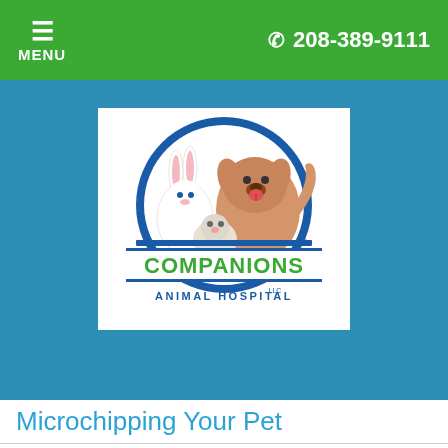MENU   208-389-9111
[Figure (logo): Companions Animal Hospital LLC logo featuring cartoon animals (rabbit, dog, small dog/cat) in a blue circular design with green COMPANIONS text and blue ANIMAL HOSPITAL LLC text below]
Microchipping Your Pet